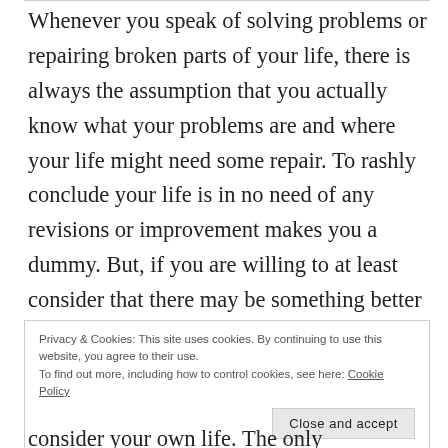Whenever you speak of solving problems or repairing broken parts of your life, there is always the assumption that you actually know what your problems are and where your life might need some repair. To rashly conclude your life is in no need of any revisions or improvement makes you a dummy. But, if you are willing to at least consider that there may be something better out there for you, there are some things you have to get clear about first. You cannot fix what you cannot see...
Privacy & Cookies: This site uses cookies. By continuing to use this website, you agree to their use.
To find out more, including how to control cookies, see here: Cookie Policy
consider your own life. The only assumption...